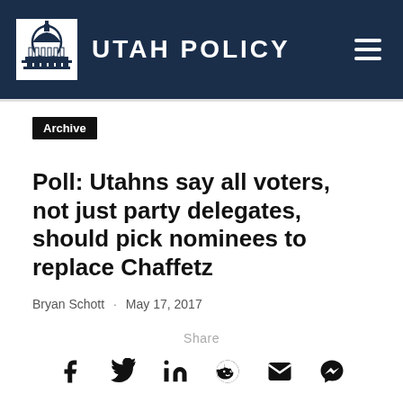UTAH POLICY
Archive
Poll: Utahns say all voters, not just party delegates, should pick nominees to replace Chaffetz
Bryan Schott · May 17, 2017
Share